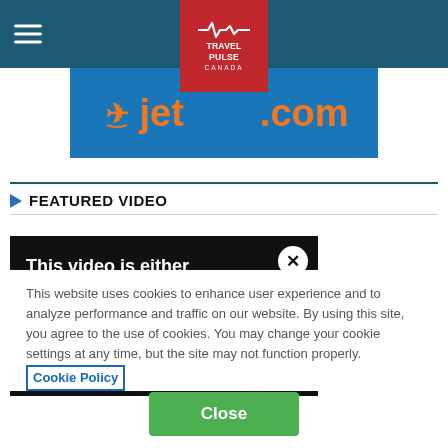TravelPulse Canada / jetcost.com
FEATURED VIDEO
[Figure (screenshot): Video player showing message: This video is either unavailable or not supported in this browser]
This website uses cookies to enhance user experience and to analyze performance and traffic on our website. By using this site, you agree to the use of cookies. You may change your cookie settings at any time, but the site may not function properly. Cookie Policy
Close